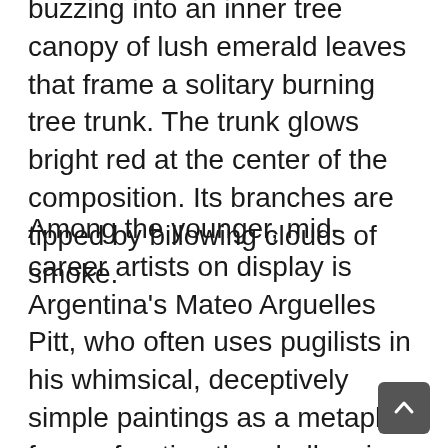buzzing into an inner tree canopy of lush emerald leaves that frame a solitary burning tree trunk. The trunk glows bright red at the center of the composition. Its branches are tipped by billowing clouds of smoke.
Among the younger, mid-career artists on display is Argentina's Mateo Arguelles Pitt, who often uses pugilists in his whimsical, deceptively simple paintings as a metaphor for confronting the challenging vagaries of life. One of his large mixed-media-on-panel works, Miércoles 3 (Wednesday the 3rd), portrays a Lilliputian palooka standing